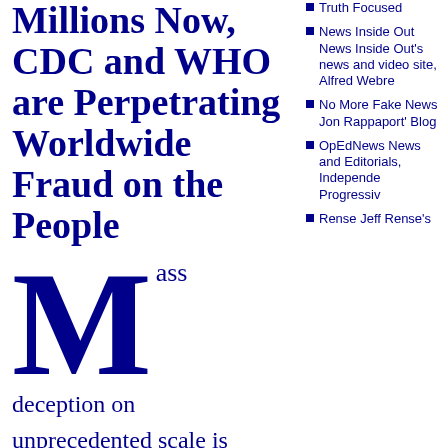Millions Now, CDC and WHO are Perpetrating Worldwide Fraud on the People
Mass deception on unprecedented scale is currently being conducted
Truth Focused
News Inside Out News Inside Out's news and video site, Alfred Webre
No More Fake News Jon Rappaport's Blog
OpEdNews News and Editorials, Independent Progressive
Rense Jeff Rense's